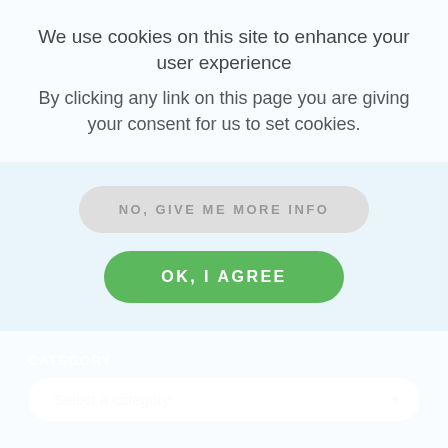We use cookies on this site to enhance your user experience
By clicking any link on this page you are giving your consent for us to set cookies.
NO, GIVE ME MORE INFO
OK, I AGREE
Select a country
CATEGORY
Select a category